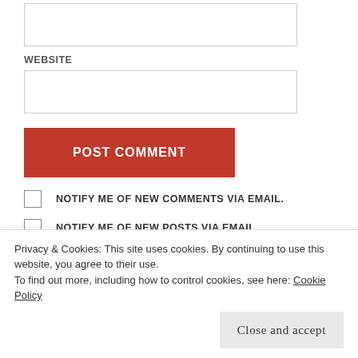[Figure (other): Empty text input box at top of form]
WEBSITE
[Figure (other): Empty website URL input box]
POST COMMENT
NOTIFY ME OF NEW COMMENTS VIA EMAIL.
NOTIFY ME OF NEW POSTS VIA EMAIL.
This site uses Akismet to reduce spam. Learn how your comment data is processed.
Privacy & Cookies: This site uses cookies. By continuing to use this website, you agree to their use.
To find out more, including how to control cookies, see here: Cookie Policy
Close and accept